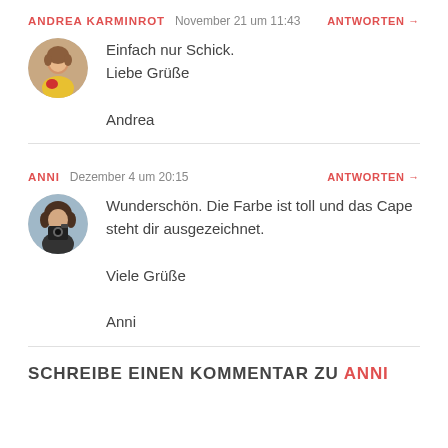ANDREA KARMINROT   November 21 um 11:43   ANTWORTEN →
[Figure (photo): Round avatar photo of Andrea Karminrot, a woman with short hair wearing a yellow/red outfit]
Einfach nur Schick.
Liebe Grüße

Andrea
ANNI   Dezember 4 um 20:15   ANTWORTEN →
[Figure (photo): Round avatar photo of Anni, a woman holding a camera]
Wunderschön. Die Farbe ist toll und das Cape steht dir ausgezeichnet.

Viele Grüße

Anni
SCHREIBE EINEN KOMMENTAR ZU ANNI